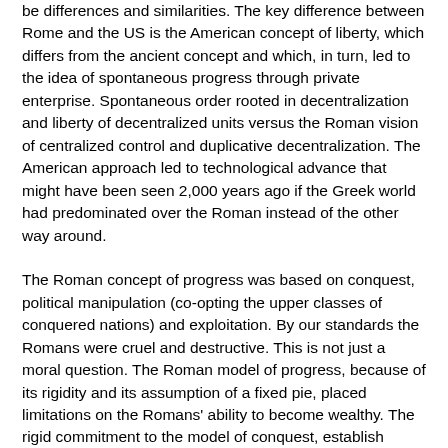be differences and similarities. The key difference between Rome and the US is the American concept of liberty, which differs from the ancient concept and which, in turn, led to the idea of spontaneous progress through private enterprise. Spontaneous order rooted in decentralization and liberty of decentralized units versus the Roman vision of centralized control and duplicative decentralization. The American approach led to technological advance that might have been seen 2,000 years ago if the Greek world had predominated over the Roman instead of the other way around.
The Roman concept of progress was based on conquest, political manipulation (co-opting the upper classes of conquered nations) and exploitation. By our standards the Romans were cruel and destructive. This is not just a moral question. The Roman model of progress, because of its rigidity and its assumption of a fixed pie, placed limitations on the Romans' ability to become wealthy. The rigid commitment to the model of conquest, establish cities, establish a dominant local elite, and exploit the majority as tenant farmers, serfs or slaves, what might be called the Romans' resource-dependent model of expansion (as opposed to the Americans' learning- or technologically